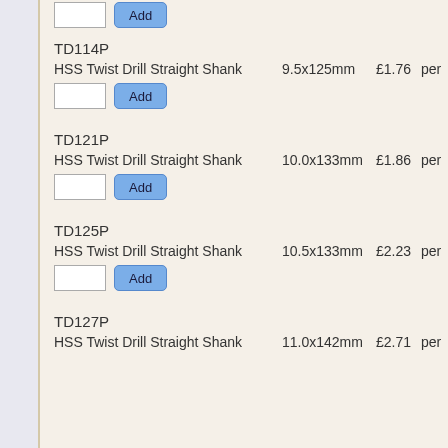[Figure (screenshot): Partial product listing at top - input box and Add button visible]
TD114P
HSS Twist Drill Straight Shank   9.5x125mm  £1.76  per  each
[Figure (screenshot): Quantity input box and Add button for TD114P]
TD121P
HSS Twist Drill Straight Shank   10.0x133mm  £1.86  per  each
[Figure (screenshot): Quantity input box and Add button for TD121P]
TD125P
HSS Twist Drill Straight Shank   10.5x133mm  £2.23  per  each
[Figure (screenshot): Quantity input box and Add button for TD125P]
TD127P
HSS Twist Drill Straight Shank   11.0x142mm  £2.71  per  each